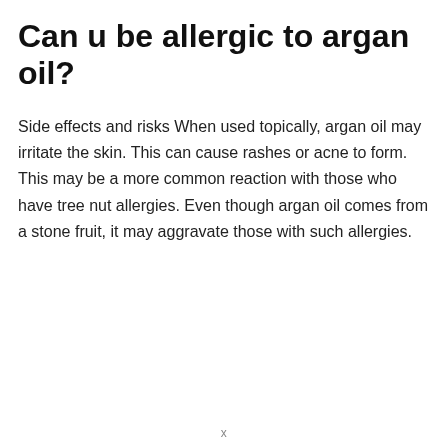Can u be allergic to argan oil?
Side effects and risks When used topically, argan oil may irritate the skin. This can cause rashes or acne to form. This may be a more common reaction with those who have tree nut allergies. Even though argan oil comes from a stone fruit, it may aggravate those with such allergies.
x